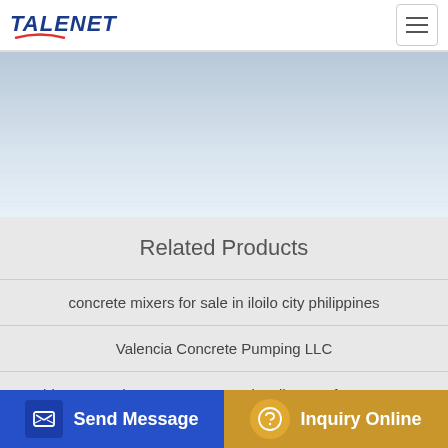TALENET
[Figure (photo): Website banner/hero image area with light blue-grey gradient background]
Related Products
concrete mixers for sale in iloilo city philippines
Valencia Concrete Pumping LLC
China Low Price A11VLO190 Main Oil Pump for Concrete macons mobile batching plant eipa
Send Message | Inquiry Online